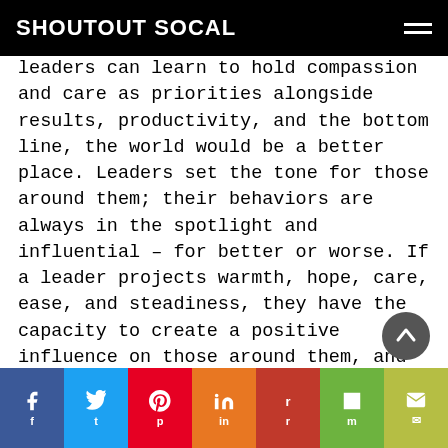SHOUTOUT SOCAL
leaders can learn to hold compassion and care as priorities alongside results, productivity, and the bottom line, the world would be a better place. Leaders set the tone for those around them; their behaviors are always in the spotlight and influential – for better or worse. If a leader projects warmth, hope, care, ease, and steadiness, they have the capacity to create a positive influence on those around them, and by extension – the ripple effect can continue to create a positive impact on the extended system – families, communities, and the greater good. My work is to partner with leaders to ensure the ripple effect they create is positive, and I hope this effort supports the organizations